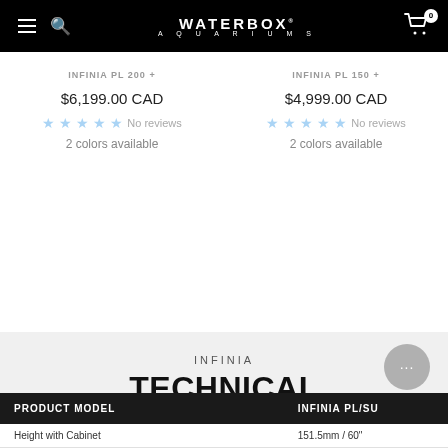WATERBOX AQUARIUMS
$6,199.00 CAD — No reviews — 2 colors available
$4,999.00 CAD — No reviews — 2 colors available
INFINIA
TECHNICAL SPECIFICATIONS
| PRODUCT MODEL | INFINIA PL/SU |
| --- | --- |
| Height with Cabinet | 151.5mm / 60" |